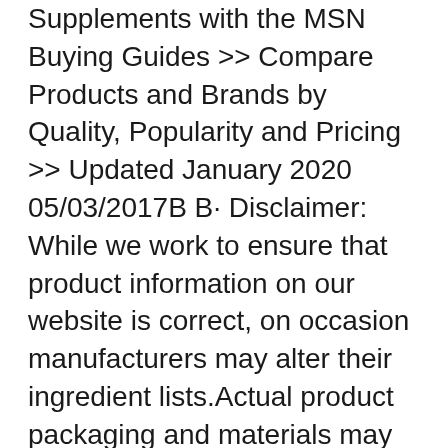Supplements with the MSN Buying Guides >> Compare Products and Brands by Quality, Popularity and Pricing >> Updated January 2020 05/03/2017B B· Disclaimer: While we work to ensure that product information on our website is correct, on occasion manufacturers may alter their ingredient lists.Actual product packaging and materials may contain more and/or different information than that shown on our website. All information about the products on our website is provided for information purposes only.
Muscletech Xenadrine Next Gen Review What Fat Burner. 2 detailed and in-depth reviews for naNOX9: I have used this product only once a day for pre-workout (3 pills 1x a day). However,